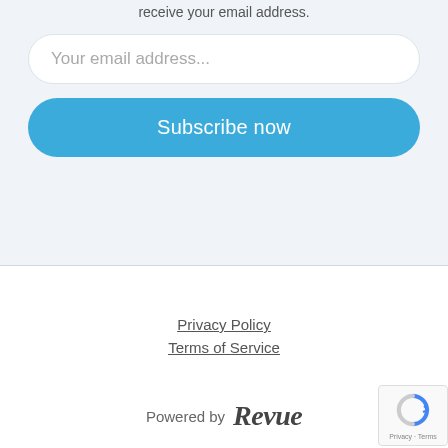receive your email address.
Your email address...
Subscribe now
Privacy Policy
Terms of Service
Powered by Revue
[Figure (other): Google reCAPTCHA badge with Privacy and Terms links]